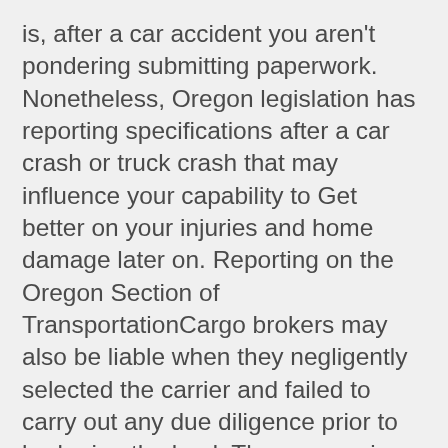is, after a car accident you aren't pondering submitting paperwork. Nonetheless, Oregon legislation has reporting specifications after a car crash or truck crash that may influence your capability to Get better on your injuries and home damage later on. Reporting on the Oregon Section of TransportationCargo brokers may also be liable when they negligently selected the carrier and failed to carry out any due diligence prior to brokering the load. The possession and legal responsibility challenges in trucking instances make these scenarios a great deal more intricate than the traditional vehicle wreck case.Negotiations: In a lot of Oregon Motor vehicle Accident conditions, the insurance company will "lowball" the early settlement provides to an accident victim, frequently attempting to strain the victim into using a lesser quantity then the claim is really worth.Mr. Veralrud handled my situation with terrific care and skill. He of course appreciates his way around